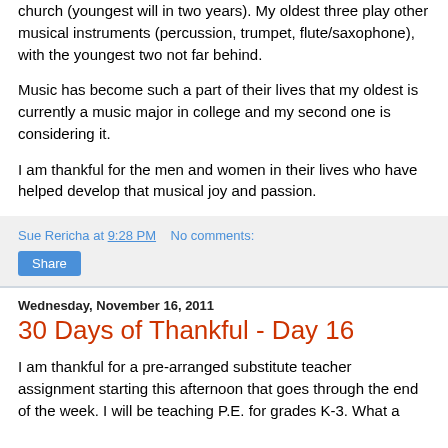church (youngest will in two years). My oldest three play other musical instruments (percussion, trumpet, flute/saxophone), with the youngest two not far behind.
Music has become such a part of their lives that my oldest is currently a music major in college and my second one is considering it.
I am thankful for the men and women in their lives who have helped develop that musical joy and passion.
Sue Rericha at 9:28 PM   No comments:
Share
Wednesday, November 16, 2011
30 Days of Thankful - Day 16
I am thankful for a pre-arranged substitute teacher assignment starting this afternoon that goes through the end of the week. I will be teaching P.E. for grades K-3. What a